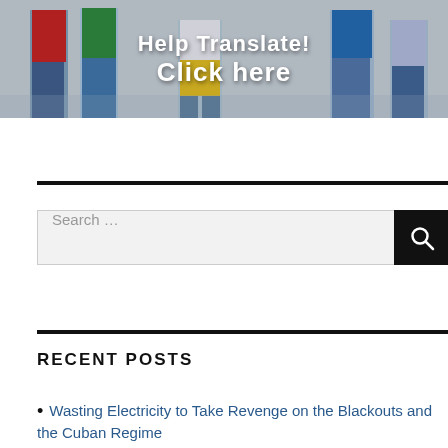[Figure (photo): Banner image showing a group of children/youth with text overlay reading 'Help Translate! Click here'. The background shows people wearing colorful clothes including red, green, yellow and blue shirts.]
Search ...
RECENT POSTS
Wasting Electricity to Take Revenge on the Blackouts and the Cuban Regime